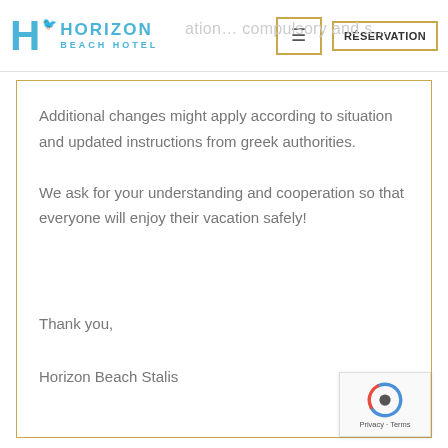Horizon Beach Hotel
Additional changes might apply according to situation and updated instructions from greek authorities.

We ask for your understanding and cooperation so that everyone will enjoy their vacation safely!
Thank you,

Horizon Beach Stalis